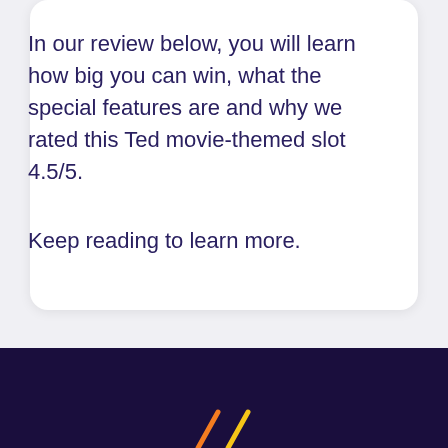In our review below, you will learn how big you can win, what the special features are and why we rated this Ted movie-themed slot 4.5/5.
Keep reading to learn more.
[Figure (logo): Dark navy footer bar with partial logo/icon visible at bottom — orange and yellow diagonal marks suggesting a stylized letter or symbol]